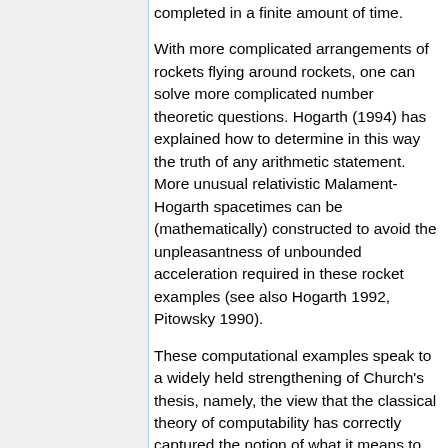completed in a finite amount of time.
With more complicated arrangements of rockets flying around rockets, one can solve more complicated number theoretic questions. Hogarth (1994) has explained how to determine in this way the truth of any arithmetic statement. More unusual relativistic Malament-Hogarth spacetimes can be (mathematically) constructed to avoid the unpleasantness of unbounded acceleration required in these rocket examples (see also Hogarth 1992, Pitowsky 1990).
These computational examples speak to a widely held strengthening of Church's thesis, namely, the view that the classical theory of computability has correctly captured the notion of what it means to be effectively computable. Because the